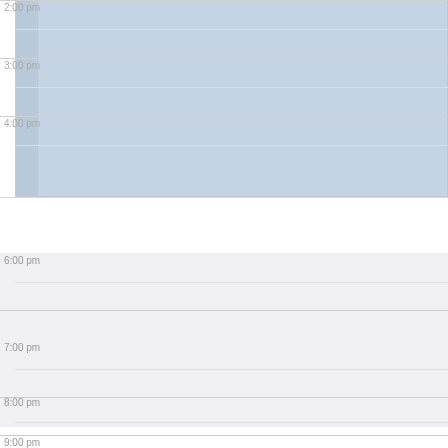[Figure (other): Calendar day view showing time slots from 2:00 pm to 9:00 pm. A blue shaded event block spans from approximately 2:00 pm to 4:45 pm. Time slots alternate between white and light gray backgrounds from 5:00 pm onward.]